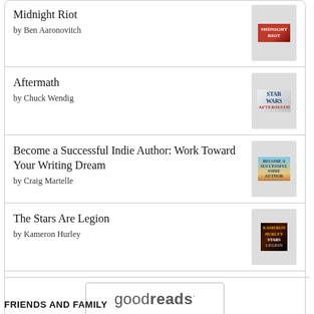Midnight Riot by Ben Aaronovitch
Aftermath by Chuck Wendig
Become a Successful Indie Author: Work Toward Your Writing Dream by Craig Martelle
The Stars Are Legion by Kameron Hurley
[Figure (logo): goodreads logo button with rounded rectangle border]
FRIENDS AND FAMILY